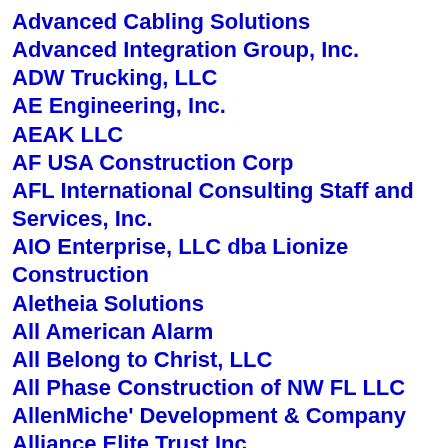Advanced Cabling Solutions
Advanced Integration Group, Inc.
ADW Trucking, LLC
AE Engineering, Inc.
AEAK LLC
AF USA Construction Corp
AFL International Consulting Staff and Services, Inc.
AIO Enterprise, LLC dba Lionize Construction
Aletheia Solutions
All American Alarm
All Belong to Christ, LLC
All Phase Construction of NW FL LLC
AllenMiche' Development & Company
Alliance Elite Trust Inc
Almond Consulting Group, LLC
Alpha Envirotech Consulting, Inc